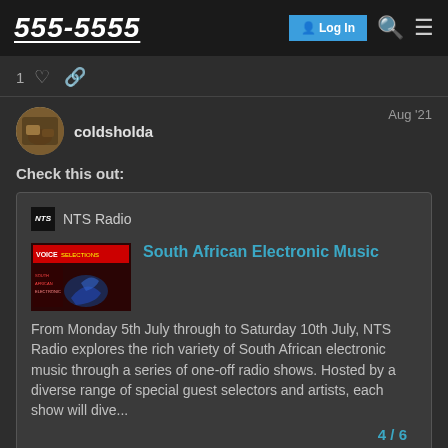555-5555 | Log In
1 ♡ 🔗
coldsholda  Aug '21
Check this out:
[Figure (screenshot): Embedded NTS Radio link card showing South African Electronic Music article with thumbnail image and description text]
4 / 6